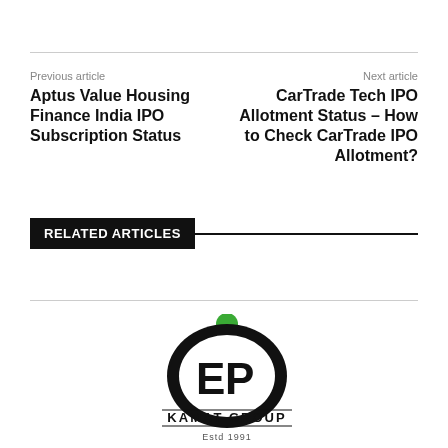Previous article
Aptus Value Housing Finance India IPO Subscription Status
Next article
CarTrade Tech IPO Allotment Status – How to Check CarTrade IPO Allotment?
RELATED ARTICLES
[Figure (logo): Kamat Group logo with EP monogram inside an oval, green dot on top, and text 'KAMAT GROUP Estd 1991']